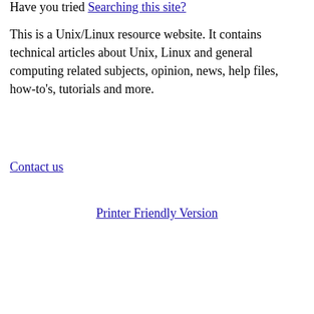Have you tried Searching this site?
This is a Unix/Linux resource website. It contains technical articles about Unix, Linux and general computing related subjects, opinion, news, help files, how-to's, tutorials and more.
Contact us
Printer Friendly Version
Principles have no real force except when one is well-fed. (Mark Twain)
Linux posts